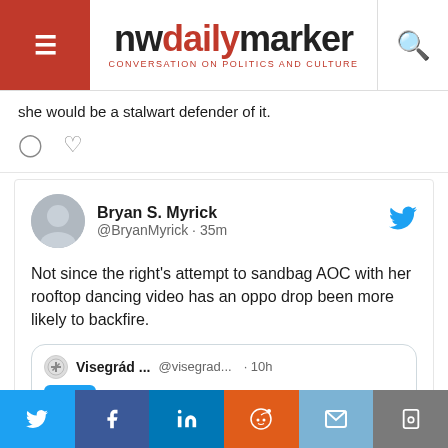nwdailymarker — CONVERSATION ON POLITICS AND CULTURE
she would be a stalwart defender of it.
[Figure (screenshot): Tweet by Bryan S. Myrick (@BryanMyrick · 35m): Not since the right's attempt to sandbag AOC with her rooftop dancing video has an oppo drop been more likely to backfire. Quoted tweet from Visegrád... @visegrad... · 10h showing Finland's Prime Minister]
Share buttons: Twitter, Facebook, LinkedIn, Reddit, Email, Save